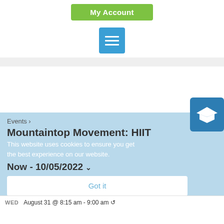[Figure (screenshot): Green 'My Account' button]
[Figure (screenshot): Blue hamburger menu icon box]
[Figure (screenshot): Blue graduation cap icon button on right side]
Events ›
Mountaintop Movement: HIIT
This website uses cookies to ensure you get the best experience on our website.
Now - 10/05/2022 ˅
Got it
August 2022
August 31 @ 8:15 am - 9:00 am ↺